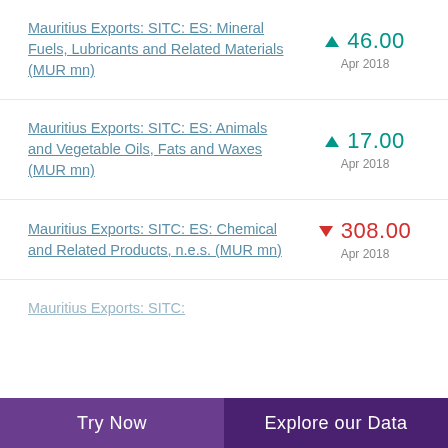Mauritius Exports: SITC: ES: Mineral Fuels, Lubricants and Related Materials (MUR mn) ▲ 46.00 Apr 2018
Mauritius Exports: SITC: ES: Animals and Vegetable Oils, Fats and Waxes (MUR mn) ▲ 17.00 Apr 2018
Mauritius Exports: SITC: ES: Chemical and Related Products, n.e.s. (MUR mn) ▼ 308.00 Apr 2018
Mauritius Exports: SITC:
Try Now
Explore our Data